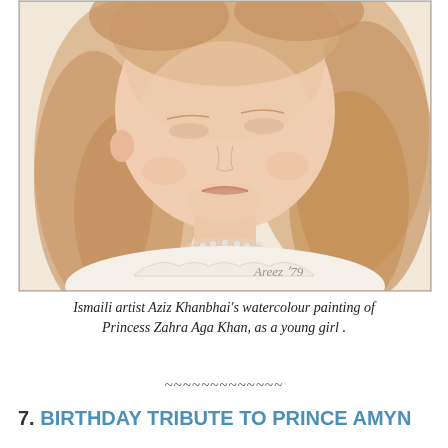[Figure (illustration): Watercolour painting of a young girl with long blonde hair and a pearl necklace, wearing a white dress with scalloped neckline. Signed 'Areez '79' in the lower right corner. The painting is in warm beige and skin tones on a light background.]
Ismaili artist Aziz Khanbhai's watercolour painting of Princess Zahra Aga Khan, as a young girl .
~~~~~~~~~~~~~
7. BIRTHDAY TRIBUTE TO PRINCE AMYN